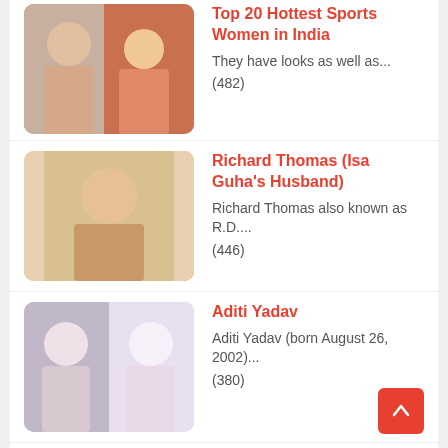Top 20 Hottest Sports Women in India – They have looks as well as... (482)
Richard Thomas (Isa Guha's Husband) – Richard Thomas also known as R.D.... (446)
Aditi Yadav – Aditi Yadav (born August 26, 2002)... (380)
Veer Pahariya – Veer Pahariya Biography, Biodata, Wiki, Age,... (327)
Lakshyaraj Singh Mewar – Lakshyaraj Singh Mewar (born January 28,...